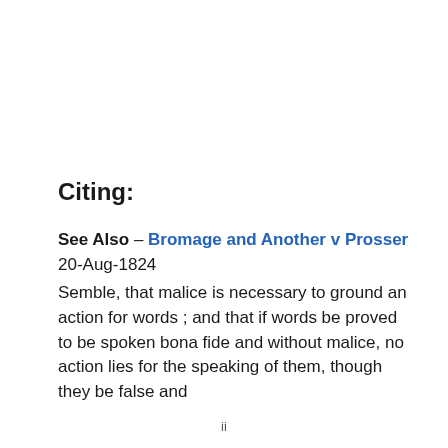Citing:
See Also – Bromage and Another v Prosser 20-Aug-1824
Semble, that malice is necessary to ground an action for words ; and that if words be proved to be spoken bona fide and without malice, no action lies for the speaking of them, though they be false and